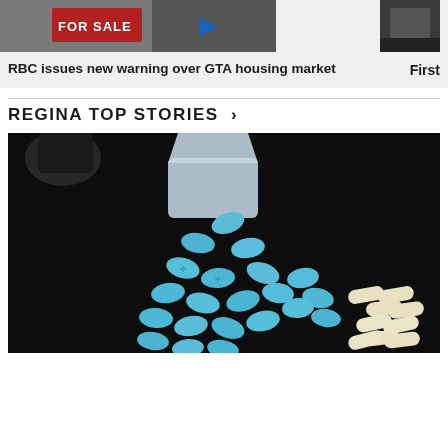[Figure (photo): FOR SALE sign thumbnail with play button, partially visible]
[Figure (photo): Small dark thumbnail image on the right]
RBC issues new warning over GTA housing market
First
REGINA TOP STORIES >
[Figure (photo): Blue pills and white capsules spilling from a container onto a dark background]